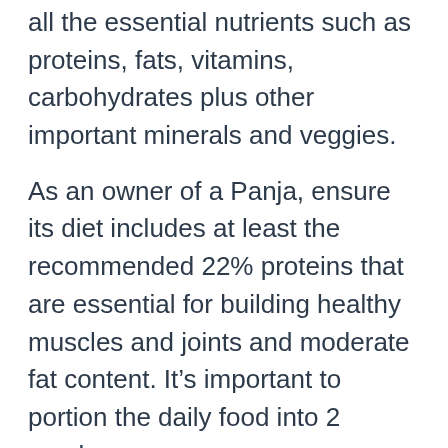all the essential nutrients such as proteins, fats, vitamins, carbohydrates plus other important minerals and veggies.
As an owner of a Panja, ensure its diet includes at least the recommended 22% proteins that are essential for building healthy muscles and joints and moderate fat content. It's important to portion the daily food into 2 meals.
The American Mastiff Panja, being a large dog, needs a lot of food to supply its daily calorie requirement of between 1500-2000 calories for optimal health.
Full-grown American Mastiff Panjas need about 6-10 cups of dry food. However, the precise